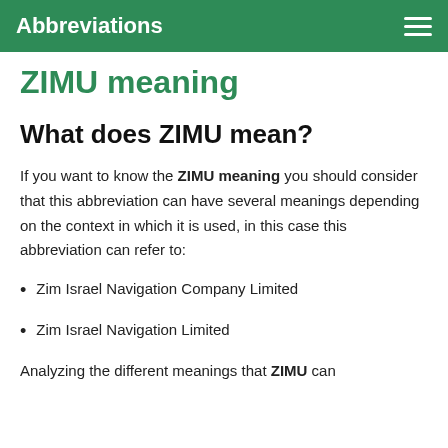Abbreviations
ZIMU meaning
What does ZIMU mean?
If you want to know the ZIMU meaning you should consider that this abbreviation can have several meanings depending on the context in which it is used, in this case this abbreviation can refer to:
Zim Israel Navigation Company Limited
Zim Israel Navigation Limited
Analyzing the different meanings that ZIMU can...